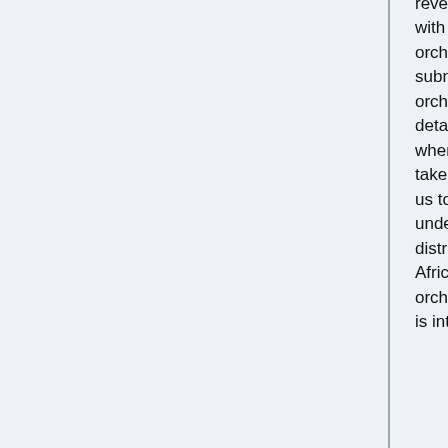reverse this trend with the help of orchid lovers. By submitting photos of orchid along with details of where and when the photo was taken, you can help us to improve our understanding of the distribution of South African and African orchids. OrchidMap is interested in